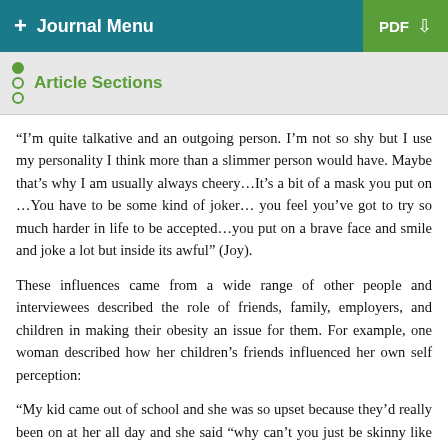+ Journal Menu | PDF ↓
Article Sections
“I’m quite talkative and an outgoing person. I’m not so shy but I use my personality I think more than a slimmer person would have. Maybe that’s why I am usually always cheery…It’s a bit of a mask you put on …You have to be some kind of joker… you feel you’ve got to try so much harder in life to be accepted…you put on a brave face and smile and joke a lot but inside its awful” (Joy).
These influences came from a wide range of other people and interviewees described the role of friends, family, employers, and children in making their obesity an issue for them. For example, one woman described how her children’s friends influenced her own self perception:
“My kid came out of school and she was so upset because they’d really been on at her all day and she said “why can’t you just be skinny like everybody else’s mum?” (Anna).
Our absolutely experience of obesity...